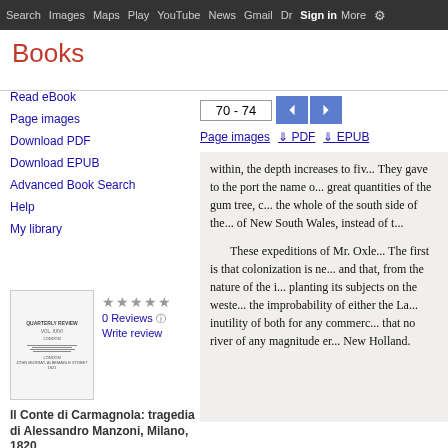Search  Images  Maps  Play  YouTube  News  Gmail  Drive  More  Sign in  (settings)
Books
Read eBook
Page images
Download PDF
Download EPUB
Advanced Book Search
Help
My library
[Figure (illustration): Book thumbnail cover image for Il Conte di Carmagnola]
0 Reviews
Write review
Il Conte di Carmagnola: tragedia di Alessandro Manzoni, Milano, 1820 ...
70 - 74
Page images  ⬇ PDF  ⬇ EPUB
within, the depth increases to fiv... They gave to the port the name o... great quantities of the gum tree, c... the whole of the south side of the... of New South Wales, instead of t...
These expeditions of Mr. Oxle... The first is that colonization is ne... and that, from the nature of the i... planting its subjects on the weste... the improbability of either the La... inutility of both for any commerc... that no river of any magnitude er... New Holland.